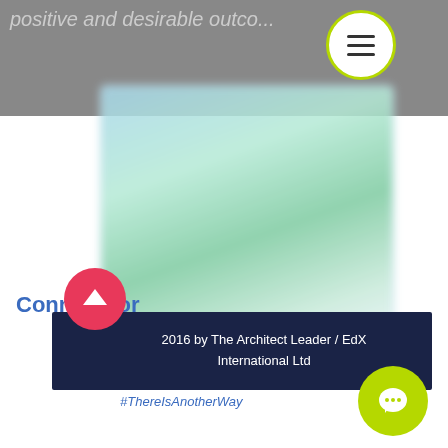positive and desirable outcomes
[Figure (screenshot): Blurred screenshot of a presentation or web page with green and teal gradient content]
Connect for
#EnduringSchoolSuccess
#SchoolTurnaround
#MissingLeadershipLayer
#ThereIsAnotherWay
2016 by The Architect Leader / EdX International Ltd